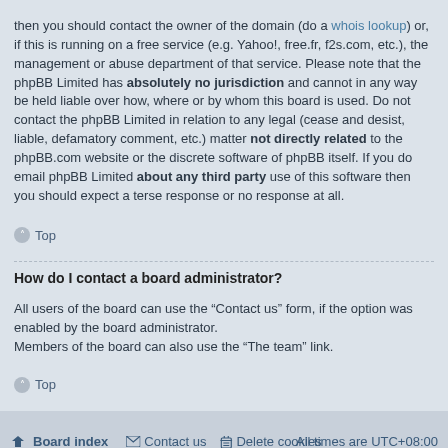then you should contact the owner of the domain (do a whois lookup) or, if this is running on a free service (e.g. Yahoo!, free.fr, f2s.com, etc.), the management or abuse department of that service. Please note that the phpBB Limited has absolutely no jurisdiction and cannot in any way be held liable over how, where or by whom this board is used. Do not contact the phpBB Limited in relation to any legal (cease and desist, liable, defamatory comment, etc.) matter not directly related to the phpBB.com website or the discrete software of phpBB itself. If you do email phpBB Limited about any third party use of this software then you should expect a terse response or no response at all.
Top
How do I contact a board administrator?
All users of the board can use the “Contact us” form, if the option was enabled by the board administrator.
Members of the board can also use the “The team” link.
Top
Board index | Contact us | Delete cookies | All times are UTC+08:00
Powered by phpBB® Forum Software © phpBB Limited | Privacy | Terms